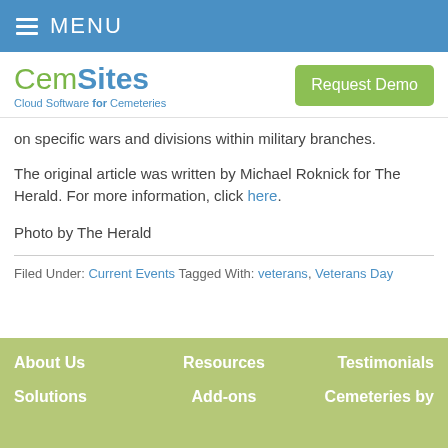≡ MENU
[Figure (logo): CemSites logo with tagline 'Cloud Software for Cemeteries' and a green 'Request Demo' button]
on specific wars and divisions within military branches.
The original article was written by Michael Roknick for The Herald. For more information, click here.
Photo by The Herald
Filed Under: Current Events Tagged With: veterans, Veterans Day
About Us   Resources   Testimonials   Solutions   Add-ons   Cemeteries by